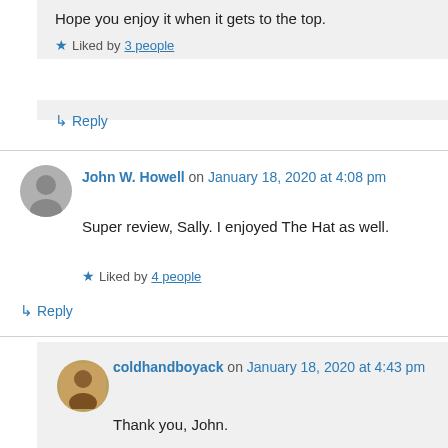Hope you enjoy it when it gets to the top.
★ Liked by 3 people
↳ Reply
John W. Howell on January 18, 2020 at 4:08 pm
Super review, Sally. I enjoyed The Hat as well.
★ Liked by 4 people
↳ Reply
coldhandboyack on January 18, 2020 at 4:43 pm
Thank you, John.